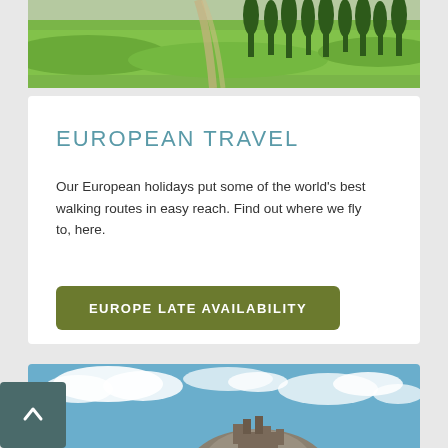[Figure (photo): Landscape photo showing a dirt path through green meadows with tall cypress trees in the background]
EUROPEAN TRAVEL
Our European holidays put some of the world's best walking routes in easy reach. Find out where we fly to, here.
EUROPE LATE AVAILABILITY
[Figure (photo): Photo of a castle or fortress on a rocky hill under a blue sky with clouds]